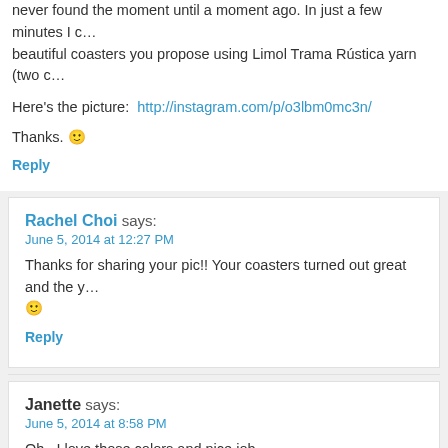never found the moment until a moment ago. In just a few minutes I c… beautiful coasters you propose using Limol Trama Rústica yarn (two c…
Here's the picture: http://instagram.com/p/o3lbm0mc3n/
Thanks. 🙂
Reply
Rachel Choi says: June 5, 2014 at 12:27 PM
Thanks for sharing your pic!! Your coasters turned out great and the y… 🙂
Reply
Janette says: June 5, 2014 at 8:58 PM
Oh,, I love those colors and nice job…..
Reply